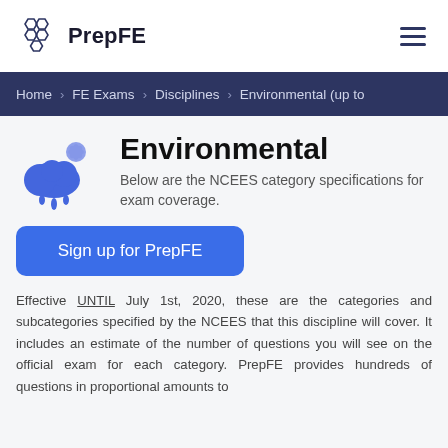PrepFE
Home > FE Exams > Disciplines > Environmental (up to
Environmental
Below are the NCEES category specifications for exam coverage.
Sign up for PrepFE
Effective UNTIL July 1st, 2020, these are the categories and subcategories specified by the NCEES that this discipline will cover. It includes an estimate of the number of questions you will see on the official exam for each category. PrepFE provides hundreds of questions in proportional amounts to